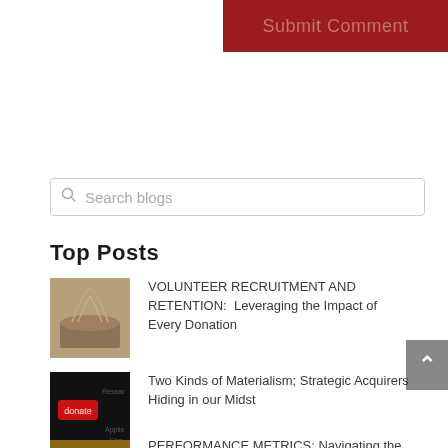[Figure (screenshot): Red Submit Comment button]
[Figure (screenshot): Search blogs input field with magnifying glass icon]
Top Posts
[Figure (photo): Open book with paper figures rising from pages]
VOLUNTEER RECRUITMENT AND RETENTION:  Leveraging the Impact of Every Donation
[Figure (photo): Red donate keyboard key on dark keyboard]
Two Kinds of Materialism; Strategic Acquirers Hiding in our Midst
[Figure (photo): Investment themed image with clock]
PERFORMANCE METRICS: Navigating the Murky Waters of Fundraising ROI